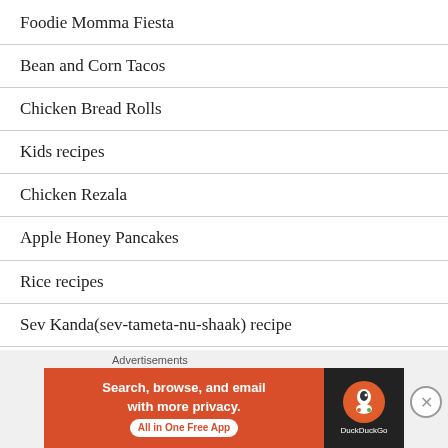Foodie Momma Fiesta
Bean and Corn Tacos
Chicken Bread Rolls
Kids recipes
Chicken Rezala
Apple Honey Pancakes
Rice recipes
Sev Kanda(sev-tameta-nu-shaak) recipe
Bombay Vada Pav
Homestyle Potato chips
[Figure (other): DuckDuckGo advertisement banner: Search, browse, and email with more privacy. All in One Free App]